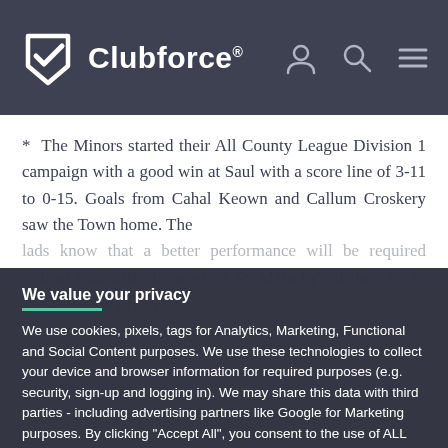Clubforce®
* The Minors started their All County League Division 1 campaign with a good win at Saul with a score line of 3-11 to 0-15. Goals from Cahal Keown and Callum Croskery saw the Town home. The lads know that a better performance will be required against Clonduff this week at St. Malachy's if they are to compete strongly in this
We value your privacy
We use cookies, pixels, tags for Analytics, Marketing, Functional and Social Content purposes. We use these technologies to collect your device and browser information for required purposes (e.g. security, sign-up and logging in). We may share this data with third parties - including advertising partners like Google for Marketing purposes. By clicking "Accept All", you consent to the use of ALL the cookies. Please visit our for more information.
ACCEPT ALL
COOKIE SETTINGS